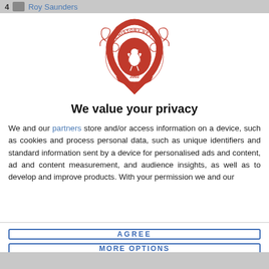4  Roy Saunders
[Figure (logo): LFCHistory.net red crest/badge logo with bird and 2002 date]
We value your privacy
We and our partners store and/or access information on a device, such as cookies and process personal data, such as unique identifiers and standard information sent by a device for personalised ads and content, ad and content measurement, and audience insights, as well as to develop and improve products. With your permission we and our
AGREE
MORE OPTIONS